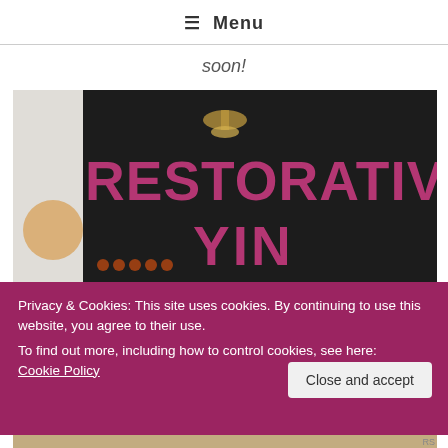☰ Menu
soon!
[Figure (photo): A dark-walled yoga studio space with large pink/magenta letters spelling out 'RESTORATIVE' across the top and 'YIN' partially visible at the bottom right, with a chandelier in the center and decorative amber elements along the bottom.]
Privacy & Cookies: This site uses cookies. By continuing to use this website, you agree to their use. To find out more, including how to control cookies, see here: Cookie Policy
Close and accept